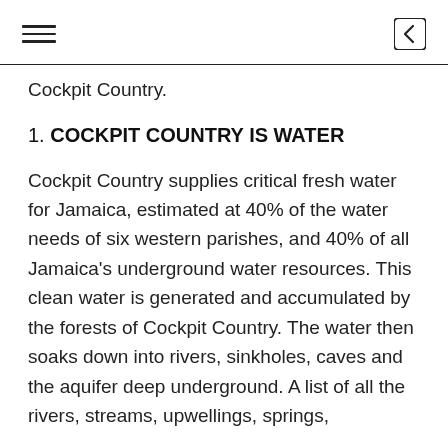Cockpit Country.
1. COCKPIT COUNTRY IS WATER
Cockpit Country supplies critical fresh water for Jamaica, estimated at 40% of the water needs of six western parishes, and 40% of all Jamaica's underground water resources. This clean water is generated and accumulated by the forests of Cockpit Country. The water then soaks down into rivers, sinkholes, caves and the aquifer deep underground. A list of all the rivers, streams, upwellings, springs,